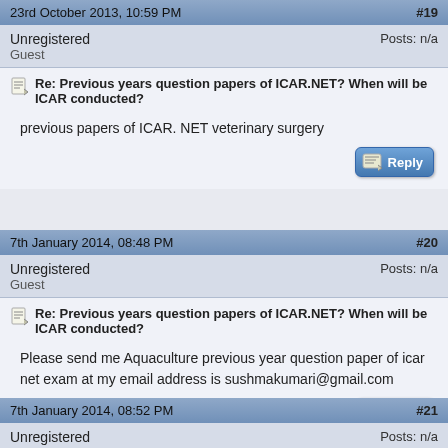[Figure (other): Reply button at top right]
23rd October 2013, 10:59 PM   #19
Unregistered
Guest   Posts: n/a
Re: Previous years question papers of ICAR.NET? When will be ICAR conducted?
previous papers of ICAR. NET veterinary surgery
[Figure (other): Reply button]
7th January 2014, 08:48 PM   #20
Unregistered
Guest   Posts: n/a
Re: Previous years question papers of ICAR.NET? When will be ICAR conducted?
Please send me Aquaculture previous year question paper of icar net exam at my email address is sushmakumari@gmail.com
[Figure (other): Reply button]
7th January 2014, 08:52 PM   #21
Unregistered
Guest   Posts: n/a